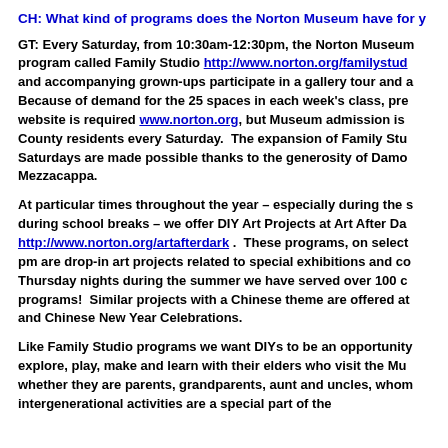CH: What kind of programs does the Norton Museum have for y
GT: Every Saturday, from 10:30am-12:30pm, the Norton Museum program called Family Studio http://www.norton.org/familystud and accompanying grown-ups participate in a gallery tour and a Because of demand for the 25 spaces in each week's class, pre website is required www.norton.org, but Museum admission is County residents every Saturday.  The expansion of Family Stu Saturdays are made possible thanks to the generosity of Damo Mezzacappa.
At particular times throughout the year – especially during the s during school breaks – we offer DIY Art Projects at Art After Da http://www.norton.org/artafterdark .  These programs, on select pm are drop-in art projects related to special exhibitions and co Thursday nights during the summer we have served over 100 c programs!  Similar projects with a Chinese theme are offered at and Chinese New Year Celebrations.
Like Family Studio programs we want DIYs to be an opportunity explore, play, make and learn with their elders who visit the Mu whether they are parents, grandparents, aunt and uncles, whom intergenerational activities are a special part of the